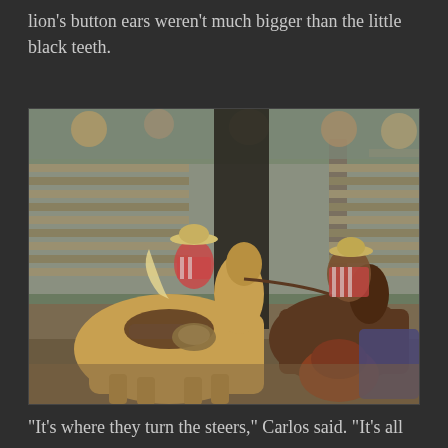lion's button ears weren't much bigger than the little black teeth.
[Figure (photo): Rodeo scene with cowboys on horseback herding steers near a wooden fence corral, spectators visible in the background.]
"It's where they turn the steers," Carlos said. "It's all